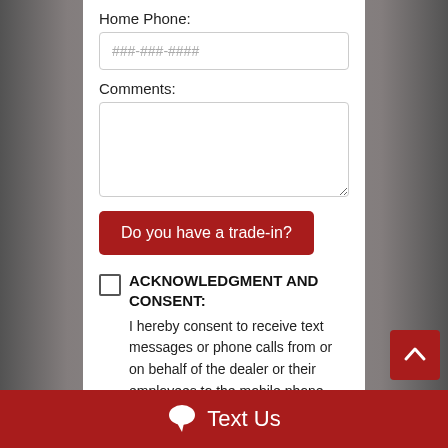Home Phone:
###-###-####
Comments:
Do you have a trade-in?
ACKNOWLEDGMENT AND CONSENT:
I hereby consent to receive text messages or phone calls from or on behalf of the dealer or their employees to the mobile phone number I provided above. By continuing, I acknowledge that
Text Us